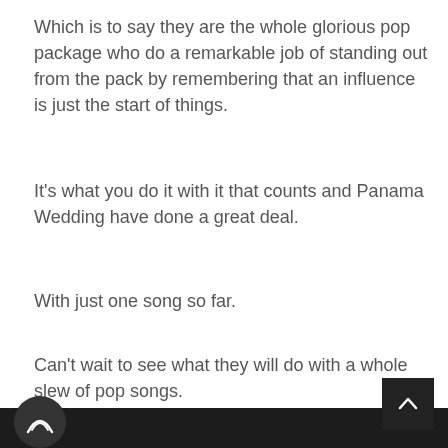Which is to say they are the whole glorious pop package who do a remarkable job of standing out from the pack by remembering that an influence is just the start of things.
It's what you do it with it that counts and Panama Wedding have done a great deal.
With just one song so far.
Can't wait to see what they will do with a whole slew of pop songs.